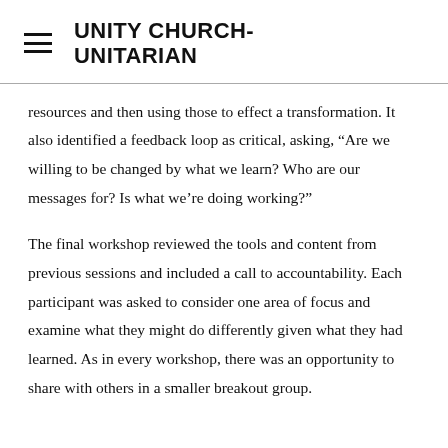UNITY CHURCH-UNITARIAN
resources and then using those to effect a transformation. It also identified a feedback loop as critical, asking, “Are we willing to be changed by what we learn? Who are our messages for? Is what we’re doing working?”
The final workshop reviewed the tools and content from previous sessions and included a call to accountability. Each participant was asked to consider one area of focus and examine what they might do differently given what they had learned. As in every workshop, there was an opportunity to share with others in a smaller breakout group.